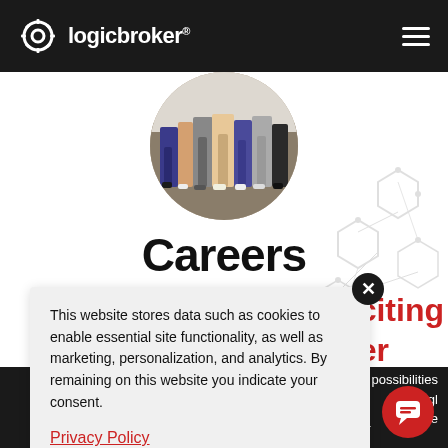logicbroker® [hamburger menu]
[Figure (photo): Circular cropped photo showing a group of people standing together, cropped at waist/leg level]
Careers
[Figure (infographic): Network/hexagon diagram decorative background graphic on right side]
xciting [broker] (partially visible red text)
possibilities [the gl...] [m me...] (partially visible white text on dark band)
to join us. If you're self-motivated, creative, eager
This website stores data such as cookies to enable essential site functionality, as well as marketing, personalization, and analytics. By remaining on this website you indicate your consent.
Privacy Policy